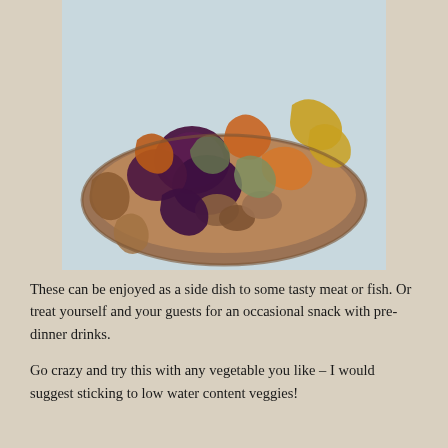[Figure (photo): A ceramic bowl filled with colorful mixed dried/baked vegetable chips including purple beet slices, orange carrot chips, yellow squash chips, and mushroom pieces, set on a light blue-gray surface.]
These can be enjoyed as a side dish to some tasty meat or fish. Or treat yourself and your guests for an occasional snack with pre-dinner drinks.
Go crazy and try this with any vegetable you like – I would suggest sticking to low water content veggies!